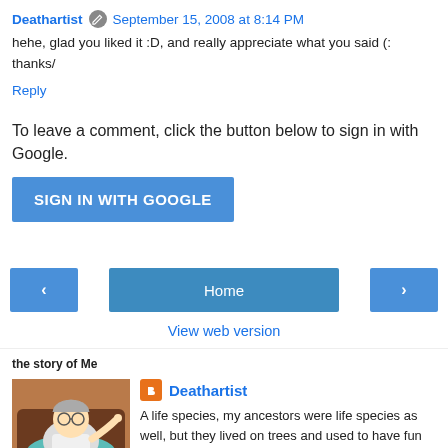Deathartist  September 15, 2008 at 8:14 PM
hehe, glad you liked it :D, and really appreciate what you said (: thanks/
Reply
To leave a comment, click the button below to sign in with Google.
[Figure (other): Blue 'SIGN IN WITH GOOGLE' button]
[Figure (other): Navigation bar with left arrow button, Home button, and right arrow button]
View web version
the story of Me
[Figure (illustration): Cartoon character (Professor Farnsworth from Futurama) sitting in a chair pointing upward]
Deathartist
A life species, my ancestors were life species as well, but they lived on trees and used to have fun all the time. Somehow, they decided to live a harder life and became me. I